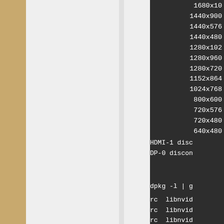[Figure (screenshot): Terminal screenshot showing a list of display resolutions: 1680x10(5?), 1440x900, 1440x576, 1440x480, 1280x102(4?), 1280x960, 1280x720, 1152x864, 1024x768, 800x600, 720x576, 720x480, 640x480, then HDMI-1 disc... and DP-0 discon... lines. Below that, a second terminal block showing: dpkg -l | g... followed by rc libnvid..., rc libnvid..., rc libnvid..., rc libnvid..., ii libnvid..., rc linux-m...]